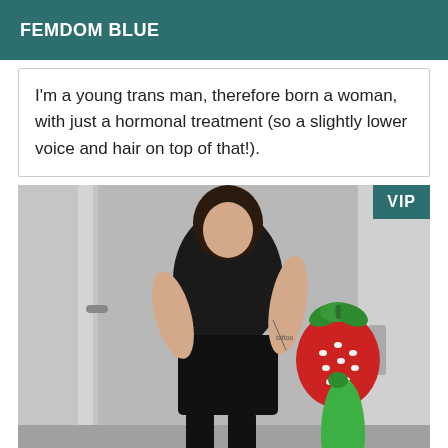FEMDOM BLUE
I'm a young trans man, therefore born a woman, with just a hormonal treatment (so a slightly lower voice and hair on top of that!).
[Figure (photo): Person wearing black leather outfit with tattoos, standing near a door. A VIP badge is shown in the top-right corner. A strawberry and green vegetable emoji/illustration overlaid on the image.]